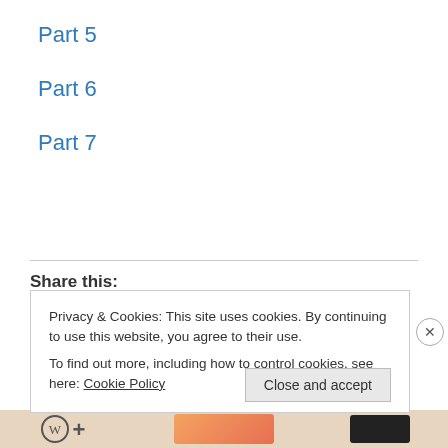Part 5
Part 6
Part 7
Share this:
Privacy & Cookies: This site uses cookies. By continuing to use this website, you agree to their use.
To find out more, including how to control cookies, see here: Cookie Policy
Close and accept